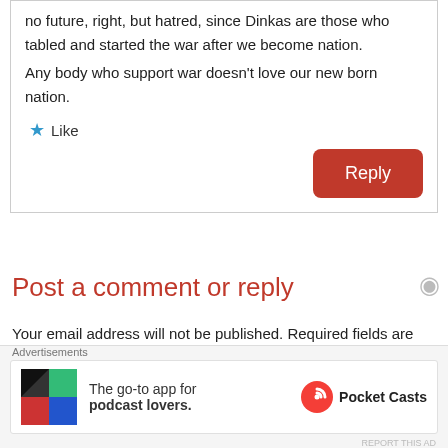no future, right, but hatred, since Dinkas are those who tabled and started the war after we become nation.
Any body who support war doesn't love our new born nation.
Like
Reply
Post a comment or reply
Your email address will not be published. Required fields are marked *
[Figure (infographic): Advertisement banner for Pocket Casts app: 'The go-to app for podcast lovers.' with Pocket Casts logo]
Advertisements